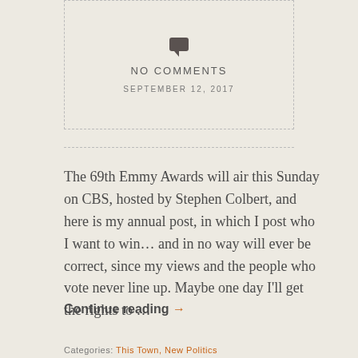[Figure (other): Comment speech bubble icon inside a dashed border box]
NO COMMENTS
SEPTEMBER 12, 2017
The 69th Emmy Awards will air this Sunday on CBS, hosted by Stephen Colbert, and here is my annual post, in which I post who I want to win… and in no way will ever be correct, since my views and the people who vote never line up. Maybe one day I'll get the rights to …
Continue reading →
Categories: This Town, New Politics